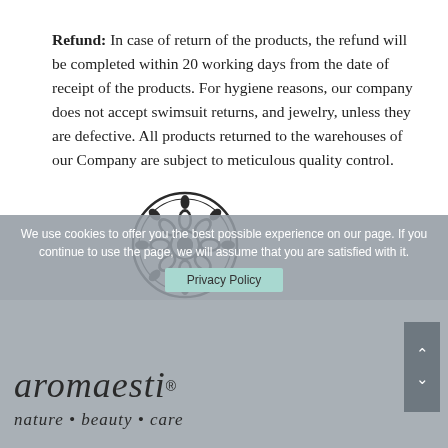Refund: In case of return of the products, the refund will be completed within 20 working days from the date of receipt of the products. For hygiene reasons, our company does not accept swimsuit returns, and jewelry, unless they are defective. All products returned to the warehouses of our Company are subject to meticulous quality control.
[Figure (logo): Aromaesti circular mandala/flower logo in black and white]
We use cookies to offer you the best possible experience on our page. If you continue to use the page, we will assume that you are satisfied with it.
[Figure (logo): Aromaesti brand logo with tagline nature • beauty • care on grey background]